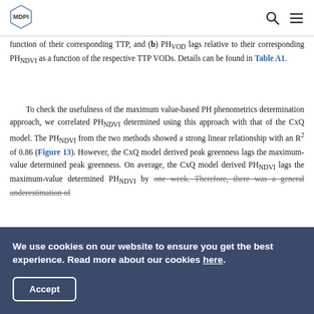MDPI
function of their corresponding TTP, and (b) PHVOD lags relative to their corresponding PHNDVI as a function of the respective TTP VODs. Details can be found in Table A1.
To check the usefulness of the maximum value-based PH phenometrics determination approach, we correlated PHNDVI determined using this approach with that of the CxQ model. The PHNDVI from the two methods showed a strong linear relationship with an R2 of 0.86 (Figure 13). However, the CxQ model derived peak greenness lags the maximum-value determined peak greenness. On average, the CxQ model derived PHNDVI lags the maximum-value determined PHNDVI by one week. Therefore, there was a general underestimation of
We use cookies on our website to ensure you get the best experience. Read more about our cookies here.
Accept